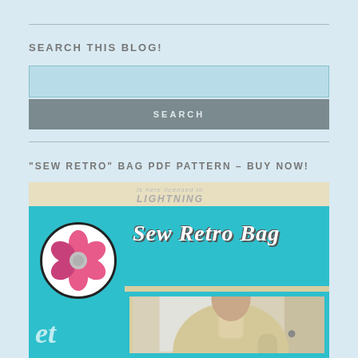SEARCH THIS BLOG!
[Figure (screenshot): Search input field (light blue rectangle)]
[Figure (screenshot): Search button (grey rectangle with SEARCH label)]
“SEW RETRO” BAG PDF PATTERN – BUY NOW!
[Figure (illustration): Sew Retro Bag PDF pattern cover image showing a pink flower logo on teal background with 'Sew Retro Bag' title text in white italic, and a photo of a person wearing a beige knit poncho/top.]